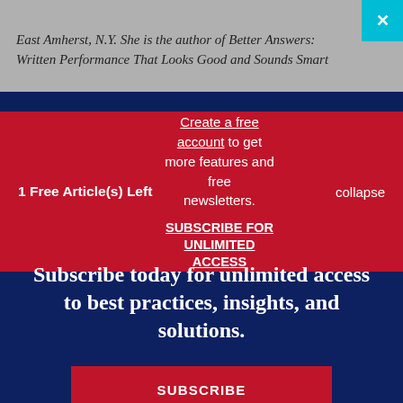East Amherst, N.Y. She is the author of Better Answers: Written Performance That Looks Good and Sounds Smart
1 Free Article(s) Left
Create a free account to get more features and free newsletters. SUBSCRIBE FOR UNLIMITED ACCESS
collapse
Subscribe today for unlimited access to best practices, insights, and solutions.
SUBSCRIBE